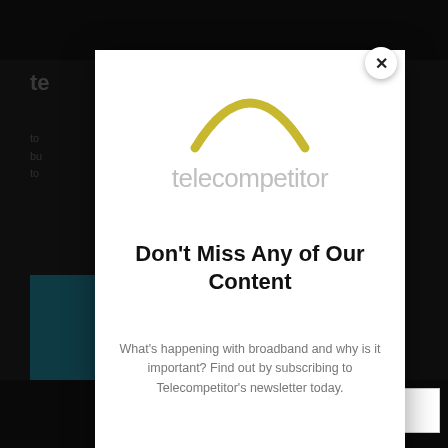[Figure (screenshot): Website popup/modal overlay for Telecompetitor newsletter subscription. Background shows darkened website content. Modal contains Telecompetitor logo, headline 'Don't Miss Any of Our Content', body text about broadband newsletter, and an email input field. A close (X) button appears in the top-right corner of the modal.]
Don't Miss Any of Our Content
What’s happening with broadband and why is it important? Find out by subscribing to Telecompetitor’s newsletter today.